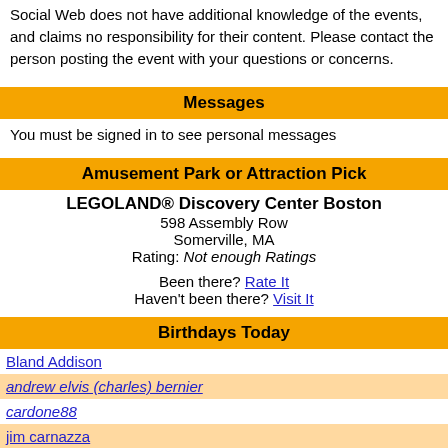Social Web does not have additional knowledge of the events, and claims no responsibility for their content. Please contact the person posting the event with your questions or concerns.
Messages
You must be signed in to see personal messages
Amusement Park or Attraction Pick
LEGOLAND® Discovery Center Boston
598 Assembly Row
Somerville, MA
Rating: Not enough Ratings

Been there? Rate It
Haven't been there? Visit It
Birthdays Today
Bland Addison
andrew elvis (charles) bernier
cardone88
jim carnazza